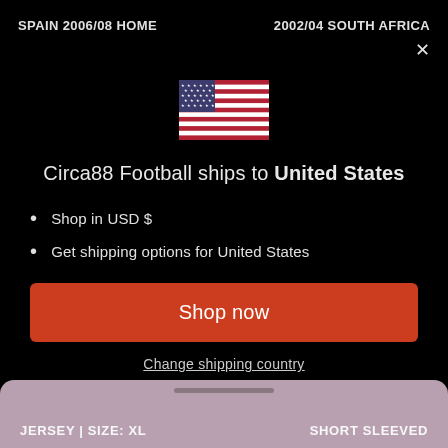SPAIN 2006/08 HOME    2002/04 SOUTH AFRICA
[Figure (illustration): US flag emoji]
Circa88 Football ships to United States
Shop in USD $
Get shipping options for United States
Shop now
Change shipping country
JERSEY | SIZE: XL    SHORT SLEEVED